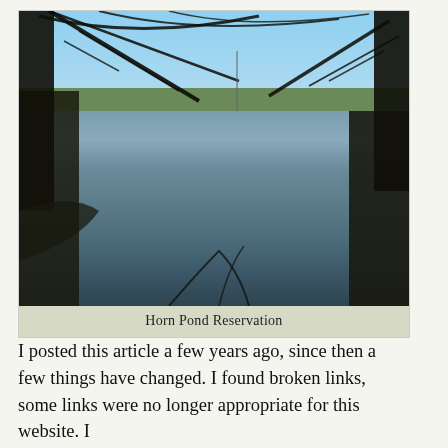[Figure (photo): Photograph of Horn Pond Reservation showing a calm pond with bare winter trees framing the view, blue sky reflected in the water, and wooded shoreline in the background.]
Horn Pond Reservation
I posted this article a few years ago, since then a few things have changed. I found broken links, some links were no longer appropriate for this website. I